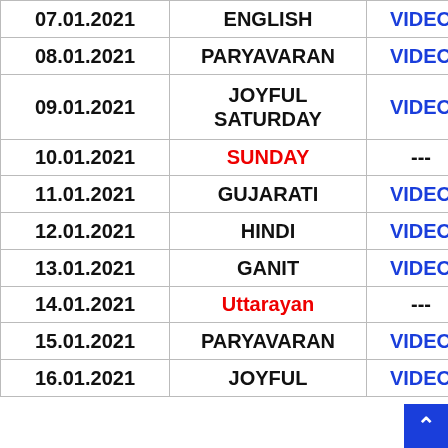| Date | Subject | Link |
| --- | --- | --- |
| 07.01.2021 | ENGLISH | VIDEO |
| 08.01.2021 | PARYAVARAN | VIDEO |
| 09.01.2021 | JOYFUL SATURDAY | VIDEO |
| 10.01.2021 | SUNDAY | --- |
| 11.01.2021 | GUJARATI | VIDEO |
| 12.01.2021 | HINDI | VIDEO |
| 13.01.2021 | GANIT | VIDEO |
| 14.01.2021 | Uttarayan | --- |
| 15.01.2021 | PARYAVARAN | VIDEO |
| 16.01.2021 | JOYFUL | VIDEO |